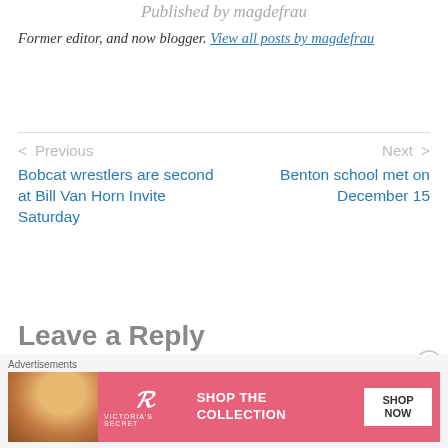Published by magdefrau
Former editor, and now blogger. View all posts by magdefrau
< Previous
Bobcat wrestlers are second at Bill Van Horn Invite Saturday
Next >
Benton school met on December 15
Leave a Reply
[Figure (photo): Victoria's Secret advertisement banner with a woman's photo, VS logo, 'SHOP THE COLLECTION' text and 'SHOP NOW' button on pink background]